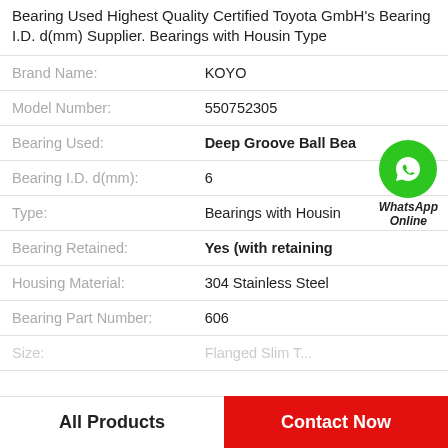Bearing Used Highest Quality Certified Toyota GmbH's Bearing I.D. d(mm) Supplier. Bearings with Housin Type
| Property | Value |
| --- | --- |
| Brand Name: | KOYO |
| Model Number: | 550752305 |
| Bearing Used: | Deep Groove Ball Bea |
| Bearing I.D. d(mm): | 6 |
| Type: | Bearings with Housin |
| Bearing Retained: | Yes (with retaining |
| Housing Material: | 304 Stainless Steel |
| Bearing Part Number: | 606 |
| Size: | Flanged Slim Type... |
[Figure (logo): WhatsApp Online green circle phone icon with WhatsApp Online text]
All Products   Contact Now